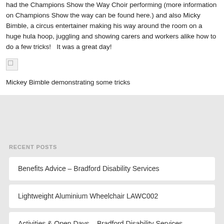had the Champions Show the Way Choir performing (more information on Champions Show the way can be found here.) and also Micky Bimble, a circus entertainer making his way around the room on a huge hula hoop, juggling and showing carers and workers alike how to do a few tricks!   It was a great day!
[Figure (photo): Broken/missing image placeholder]
Mickey Bimble demonstrating some tricks
RECENT POSTS
Benefits Advice – Bradford Disability Services
Lightweight Aluminium Wheelchair LAWC002
Activities & Open Days – Bradford Disability Services